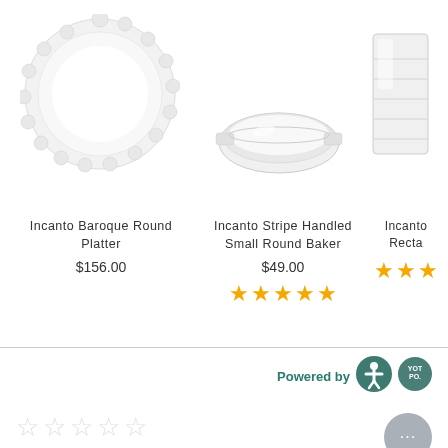[Figure (photo): Incanto Baroque Round Platter - white decorative plate with scalloped edge]
[Figure (photo): Incanto Stripe Handled Small Round Baker - white ceramic oval baking dish]
[Figure (photo): Incanto (partially visible) Rectangular item - white ceramic mug/piece]
Incanto Baroque Round Platter
$156.00
Incanto Stripe Handled Small Round Baker
$49.00
[Figure (infographic): 5 yellow stars rating for Incanto Stripe Handled Small Round Baker]
[Figure (infographic): Partial star rating (approximately 3 stars) for third product]
Incanto Recta (truncated)
Powered by
[Figure (logo): Accessibility icon - person symbol in teal circle]
[Figure (logo): YOTPO badge logo]
[Figure (infographic): 5 empty stars - 0 Reviews]
0 Reviews
[Figure (infographic): Chat bubble with ellipsis]